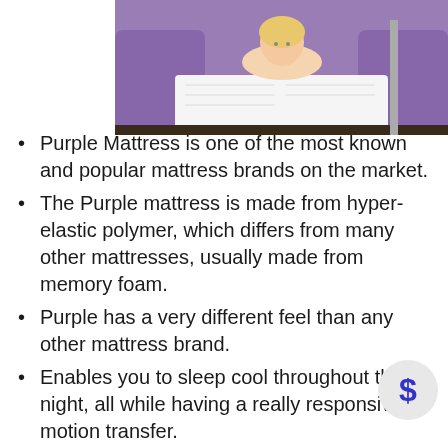[Figure (photo): Woman lying on a white Purple mattress in a purple-accented room, smiling at the camera]
Purple Mattress is one of the most known and popular mattress brands on the market.
The Purple mattress is made from hyper-elastic polymer, which differs from many other mattresses, usually made from memory foam.
Purple has a very different feel than any other mattress brand.
Enables you to sleep cool throughout the night, all while having a really responsive motion transfer.
Purple mattress includes a 10 year limited warranty.